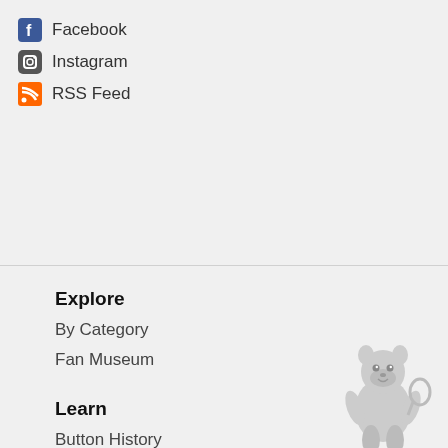Facebook
Instagram
RSS Feed
Explore
By Category
Fan Museum
Learn
Button History
[Figure (illustration): Cartoon raccoon or squirrel mascot waving, with text TO THE TOP below]